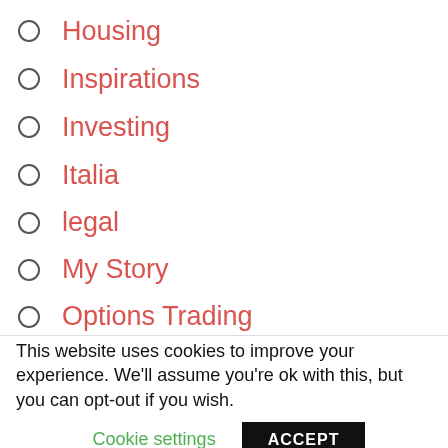Housing
Inspirations
Investing
Italia
legal
My Story
Options Trading
Principles
Quitting
Self Improvement
Services
Spending
This website uses cookies to improve your experience. We'll assume you're ok with this, but you can opt-out if you wish.
Cookie settings
ACCEPT